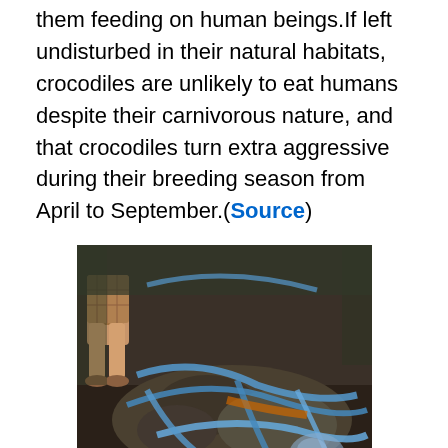them feeding on human beings.If left undisturbed in their natural habitats, crocodiles are unlikely to eat humans despite their carnivorous nature, and that crocodiles turn extra aggressive during their breeding season from April to September.(Source)
[Figure (photo): A large crocodile tied with blue ropes after capture, with a person's legs visible standing beside it.]
Giant croc jaws tied up after capture
The crocodile Lolong suffered no major injury in his capture, just a small abrasion on his jaw, so he is safe for